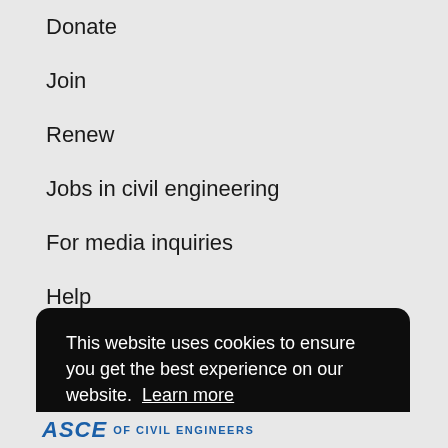Donate
Join
Renew
Jobs in civil engineering
For media inquiries
Help
This website uses cookies to ensure you get the best experience on our website. Learn more
Got it!
ASCE OF CIVIL ENGINEERS